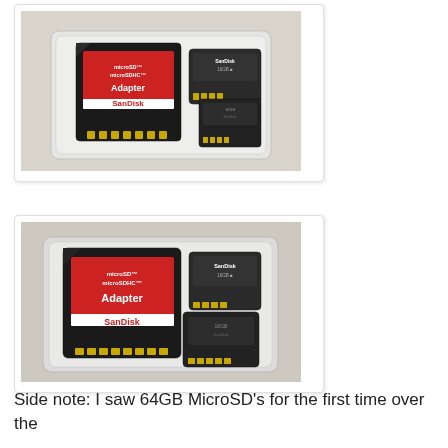[Figure (photo): SanDisk microSD/microSDHC adapter card and microSD cards in a clear plastic case, viewed from above on a light surface.]
[Figure (photo): SanDisk microSD/microSDHC adapter card and microSD cards in a clear plastic case, slightly different angle, viewed from above.]
Side note: I saw 64GB MicroSD's for the first time over the